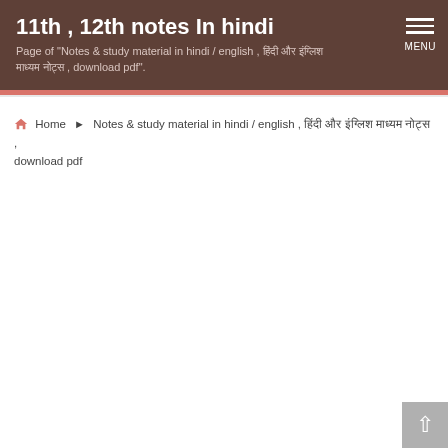11th , 12th notes In hindi
Page of "Notes & study material in hindi / english , हिंदी और इंग्लिश माध्यम नोट्स , download pdf".
Home ▶ Notes & study material in hindi / english , हिंदी और इंग्लिश माध्यम नोट्स , download pdf